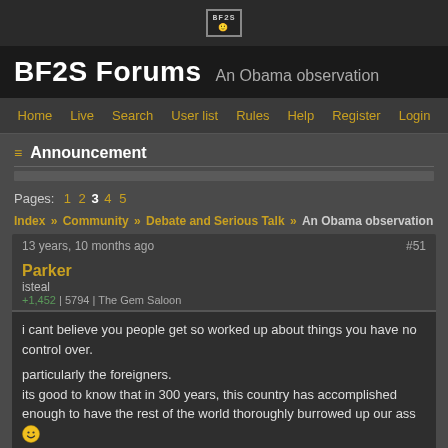[Figure (logo): BF2S logo icon in top bar]
BF2S Forums  An Obama observation
Home | Live | Search | User list | Rules | Help | Register | Login
Announcement
Pages: 1 2 3 4 5
Index » Community » Debate and Serious Talk » An Obama observation
13 years, 10 months ago  #51
Parker
isteal
+1,452 | 5794 | The Gem Saloon
i cant believe you people get so worked up about things you have no control over.

particularly the foreigners.
its good to know that in 300 years, this country has accomplished enough to have the rest of the world thoroughly burrowed up our ass 🙂